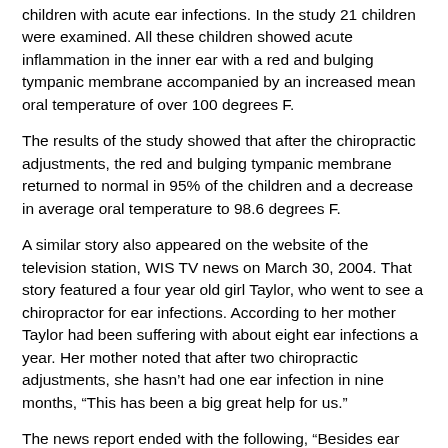children with acute ear infections. In the study 21 children were examined. All these children showed acute inflammation in the inner ear with a red and bulging tympanic membrane accompanied by an increased mean oral temperature of over 100 degrees F.
The results of the study showed that after the chiropractic adjustments, the red and bulging tympanic membrane returned to normal in 95% of the children and a decrease in average oral temperature to 98.6 degrees F.
A similar story also appeared on the website of the television station, WIS TV news on March 30, 2004. That story featured a four year old girl Taylor, who went to see a chiropractor for ear infections. According to her mother Taylor had been suffering with about eight ear infections a year. Her mother noted that after two chiropractic adjustments, she hasn't had one ear infection in nine months, “This has been a big great help for us.”
The news report ended with the following, “Besides ear infections another study found chiropractic care helps babies with colic. The study reports children cried two hours less after having adjustments than those who received the standard drug treatment.”